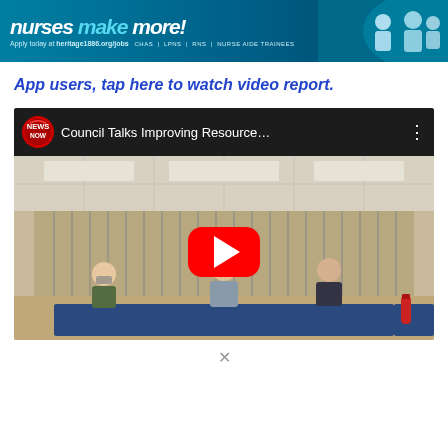[Figure (photo): Banner advertisement for heritage1886.org/jobs showing nurses with text 'nurses make more' and job categories: CHAs, LPNs, RNs, NURSE AIDE TRAINEES. Apply today at heritage1886.org/jobs.]
App users, tap here to watch video report.
[Figure (screenshot): YouTube video thumbnail showing 'Council Talks Improving Resource...' with Warren/Marion News Now logo. Scene shows three people seated at a blue-draped table in a meeting room with vertical blinds, with a large YouTube play button overlay.]
✕